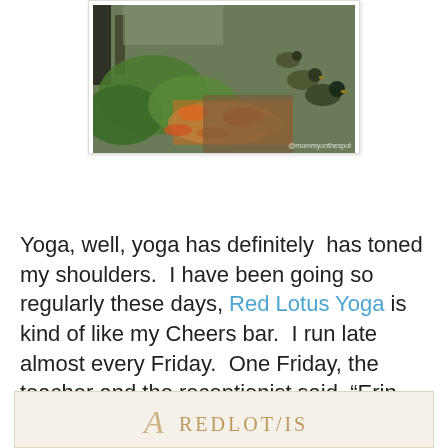[Figure (photo): Outdoor nature photo showing ducks among autumn leaves and green plants, with a watermark '@mommyonthespot' in the lower right corner.]
Yoga, well, yoga has definitely  has toned my shoulders.  I have been going so regularly these days, Red Lotus Yoga is kind of like my Cheers bar.  I run late almost every Friday.  One Friday, the teacher and the receptionist said, “Erin, don’t worry.  We signed you in.  Go on to class.”
[Figure (logo): Bottom advertisement or logo area showing partial text 'A REDLOT/IS' in decorative serif font on a tan/cream background.]